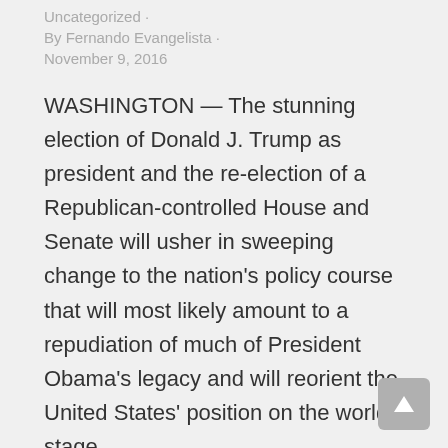Uncategorized · By Fernando Evangelista · November 9, 2016
WASHINGTON — The stunning election of Donald J. Trump as president and the re-election of a Republican-controlled House and Senate will usher in sweeping change to the nation's policy course that will most likely amount to a repudiation of much of President Obama's legacy and will reorient the United States' position on the world stage….
Details ▶